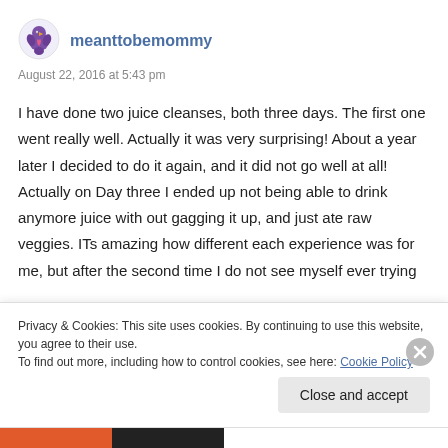[Figure (illustration): Purple bird/heart avatar icon for user meanttobemommy]
meanttobemommy
August 22, 2016 at 5:43 pm
I have done two juice cleanses, both three days. The first one went really well. Actually it was very surprising! About a year later I decided to do it again, and it did not go well at all! Actually on Day three I ended up not being able to drink anymore juice with out gagging it up, and just ate raw veggies. ITs amazing how different each experience was for me, but after the second time I do not see myself ever trying
Privacy & Cookies: This site uses cookies. By continuing to use this website, you agree to their use.
To find out more, including how to control cookies, see here: Cookie Policy
Close and accept